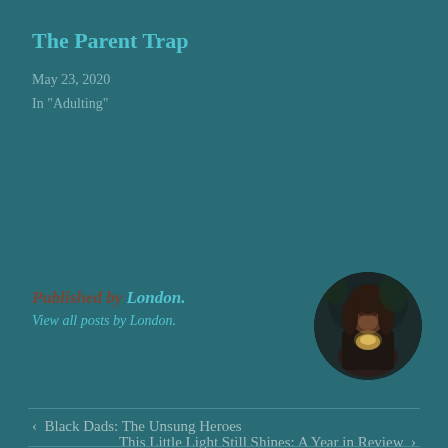The Parent Trap
May 23, 2020
In "Adulting"
Published by London.
View all posts by London.
[Figure (photo): Circular avatar photo of a person holding something glowing, dark background]
‹  Black Dads: The Unsung Heroes
This Little Light Still Shines: A Year in Review  ›